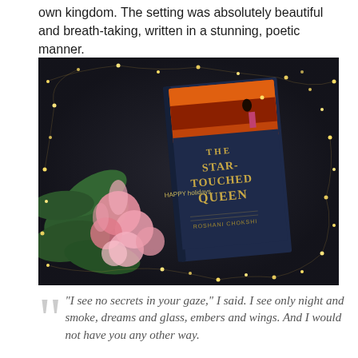own kingdom. The setting was absolutely beautiful and breath-taking, written in a stunning, poetic manner.
[Figure (photo): A hardcover book 'The Star-Touched Queen by Roshani Chokshi' lying on a dark background, surrounded by pink flowers, green leaves, and fairy lights. The book cover shows a woman in a pink dress against a fiery sky.]
“I see no secrets in your gaze,” I said. I see only night and smoke, dreams and glass, embers and wings. And I would not have you any other way.